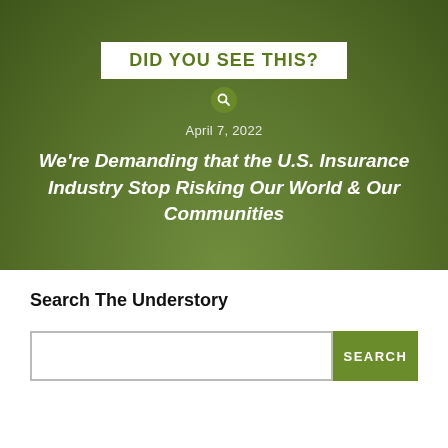[Figure (illustration): Dark olive/green hero banner image with misty cloud background showing article promotion card. Contains white box with bold green text 'DID YOU SEE THIS?', a small circular search icon below it, date 'April 7, 2022', and bold white italic headline text: 'We’re Demanding that the U.S. Insurance Industry Stop Risking Our World & Our Communities']
Search The Understory
SEARCH